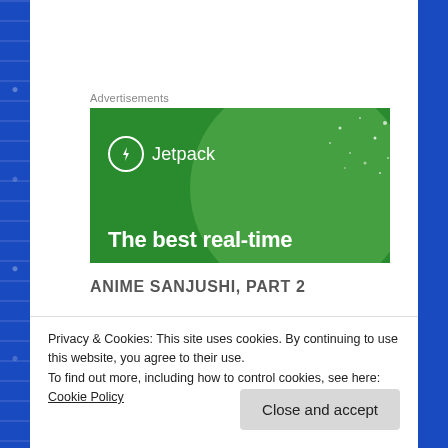Advertisements
[Figure (illustration): Jetpack advertisement banner with green background, Jetpack logo (lightning bolt in circle), and text 'The best real-time']
ANIME SANJUSHI, PART 2
Privacy & Cookies: This site uses cookies. By continuing to use this website, you agree to their use.
To find out more, including how to control cookies, see here: Cookie Policy